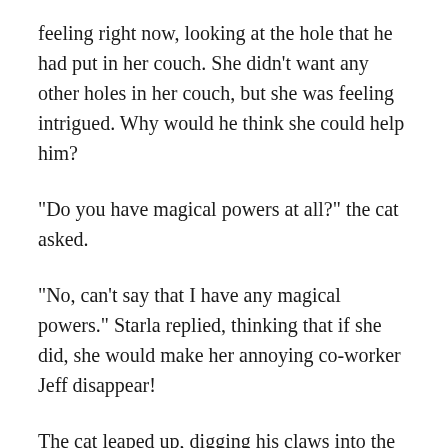feeling right now, looking at the hole that he had put in her couch. She didn't want any other holes in her couch, but she was feeling intrigued. Why would he think she could help him?
“Do you have magical powers at all?” the cat asked.
“No, can’t say that I have any magical powers.” Starla replied, thinking that if she did, she would make her annoying co-worker Jeff disappear!
The cat leaped up, digging his claws into the couch as Starla groaned. “Get down now!” she yelled, which he promptly did.
“Well I see that I had you pegged all wrong! I should have known that you know nothing!”